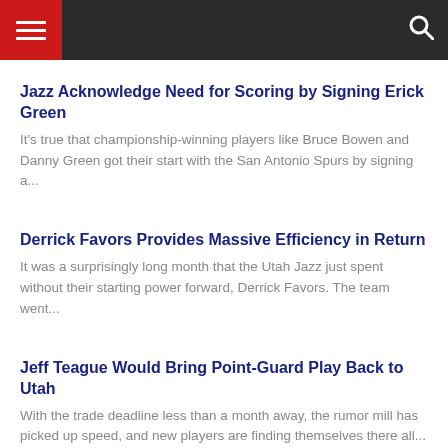Navigation bar with hamburger menu and search icon
Jazz Acknowledge Need for Scoring by Signing Erick Green
It's true that championship-winning players like Bruce Bowen and Danny Green got their start with the San Antonio Spurs by signing a...
Derrick Favors Provides Massive Efficiency in Return
It was a surprisingly long month that the Utah Jazz just spent without their starting power forward, Derrick Favors. The team went...
Jeff Teague Would Bring Point-Guard Play Back to Utah
With the trade deadline less than a month away, the rumor mill has picked up speed, and new players are finding themselves there all...